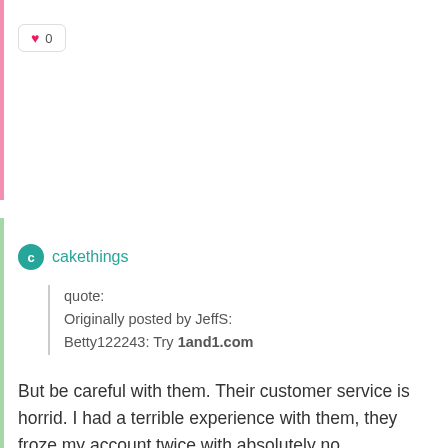[Figure (other): Like button showing heart icon and count 0]
cakethings
quote:
Originally posted by JeffS:
Betty122243: Try 1and1.com
But be careful with them. Their customer service is horrid. I had a terrible experience with them, they froze my account twice with absolutely no explanation. Both times they said it was a "mistake". Both times I spent about 2 hours on hold waiting for customer support. One time, when someone finally answered, she spent the whole